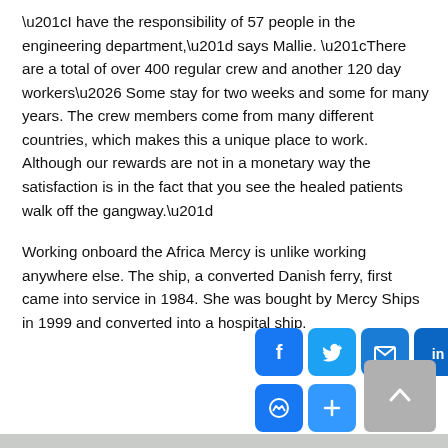“I have the responsibility of 57 people in the engineering department,” says Mallie. “There are a total of over 400 regular crew and another 120 day workers… Some stay for two weeks and some for many years. The crew members come from many different countries, which makes this a unique place to work. Although our rewards are not in a monetary way the satisfaction is in the fact that you see the healed patients walk off the gangway.”
Working onboard the Africa Mercy is unlike working anywhere else. The ship, a converted Danish ferry, first came into service in 1984. She was bought by Mercy Ships in 1999 and converted into a hospital ship.
[Figure (infographic): Social sharing buttons: Facebook, Twitter, Email, LinkedIn, WhatsApp (first row); Messenger, Add/More (second row); Scroll-to-top arrow button (bottom right)]